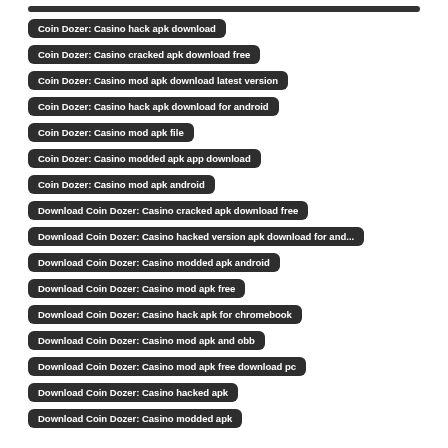Coin Dozer: Casino hack apk download
Coin Dozer: Casino cracked apk download free
Coin Dozer: Casino mod apk download latest version
Coin Dozer: Casino hack apk download for android
Coin Dozer: Casino mod apk file
Coin Dozer: Casino modded apk app download
Coin Dozer: Casino mod apk android
Download Coin Dozer: Casino cracked apk download free
Download Coin Dozer: Casino hacked version apk download for and...
Download Coin Dozer: Casino modded apk android
Download Coin Dozer: Casino mod apk free
Download Coin Dozer: Casino hack apk for chromebook
Download Coin Dozer: Casino mod apk and obb
Download Coin Dozer: Casino mod apk free download pc
Download Coin Dozer: Casino hacked apk
Download Coin Dozer: Casino modded apk